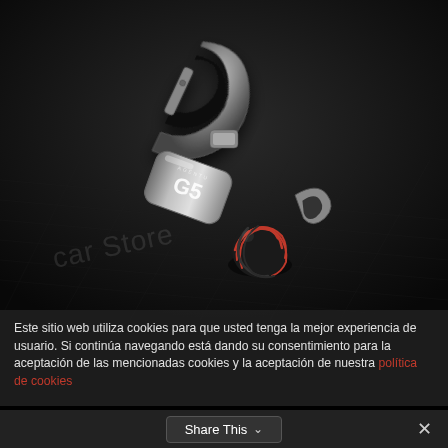[Figure (photo): A metal keychain carabiner clip with a braided black and red paracord ball, engraved with 'G5' branding on a gunmetal cylindrical body, resting on a dark fabric surface. A faint watermark reads 'car Store'.]
Este sitio web utiliza cookies para que usted tenga la mejor experiencia de usuario. Si continúa navegando está dando su consentimiento para la aceptación de las mencionadas cookies y la aceptación de nuestra política de cookies
Share This